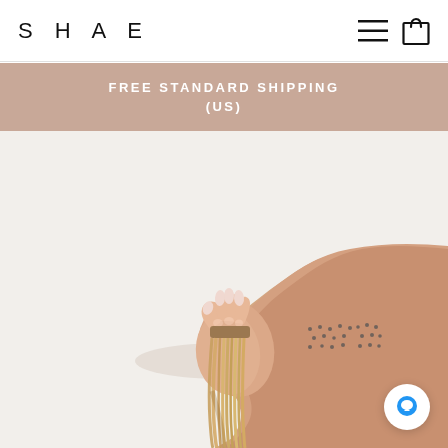SHAE
FREE STANDARD SHIPPING (US)
[Figure (photo): A hand and forearm extending from the right side, holding a bundle of blonde hair extensions. The person has manicured nails and a dot tattoo on their forearm. The background is off-white/light grey.]